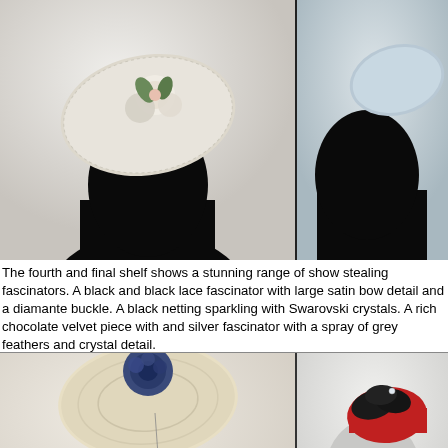[Figure (photo): Black mannequin head wearing a light cream/white disc fascinator decorated with fabric flowers in cream, pink and green]
[Figure (photo): Black mannequin head in profile wearing a pale blue/grey circular fascinator]
The fourth and final shelf shows a stunning range of show stealing fascinators. A black and black lace fascinator with large satin bow detail and a diamante buckle. A black netting sparkling with Swarovski crystals. A rich chocolate velvet piece with and silver fascinator with a spray of grey feathers and crystal detail.
[Figure (photo): Black velvet mannequin head wearing a natural straw disc fascinator with a large navy blue fabric flower on top]
[Figure (photo): White/grey mannequin head wearing a red and black fascinator with dark velvet petals and crystal detail]
[Figure (photo): Fascinator with feathers, netting and floral detail in brown and cream tones on mannequin]
[Figure (photo): Natural straw fascinator with grey/silver pointed leaf or petal shapes on mannequin]